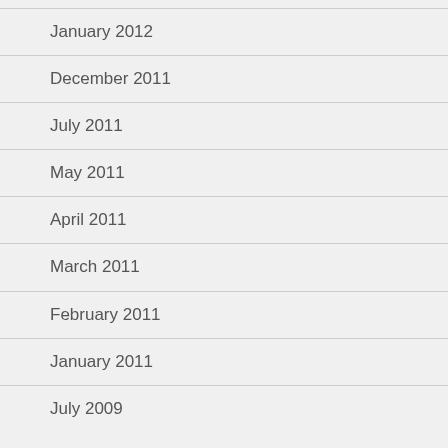January 2012
December 2011
July 2011
May 2011
April 2011
March 2011
February 2011
January 2011
July 2009